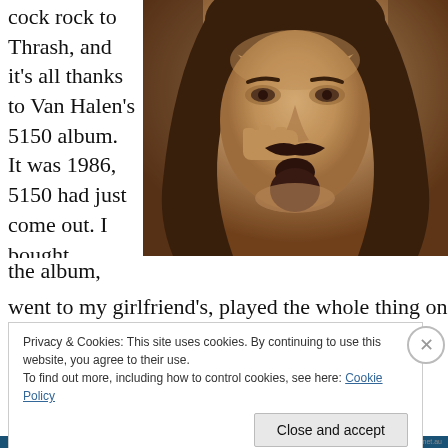cock rock to Thrash, and it's all thanks to Van Halen's 5150 album. It was 1986, 5150 had just come out. I bought the album,
[Figure (photo): Sepia-toned close-up portrait of a man with long curly dark hair, thick mustache and goatee, hand raised to his chin in a thoughtful pose.]
went to my girlfriend's, played the whole thing once, and
Privacy & Cookies: This site uses cookies. By continuing to use this website, you agree to their use.
To find out more, including how to control cookies, see here: Cookie Policy